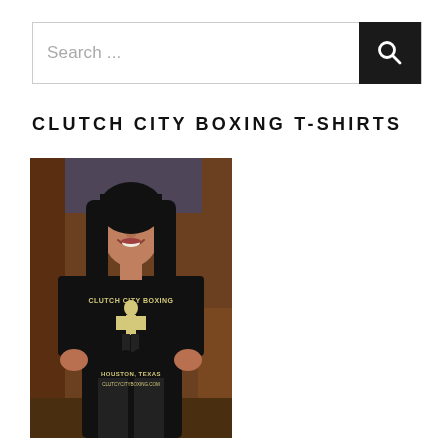Search ...
CLUTCH CITY BOXING T-SHIRTS
[Figure (photo): A young woman with long dark hair smiling, wearing a black Clutch City Boxing t-shirt with a boxer graphic and text reading 'CLUTCH CITY BOXING HOUSTON, TEXAS' on the front, standing in what appears to be a restaurant or bar setting with wooden chairs and walls visible in the background.]